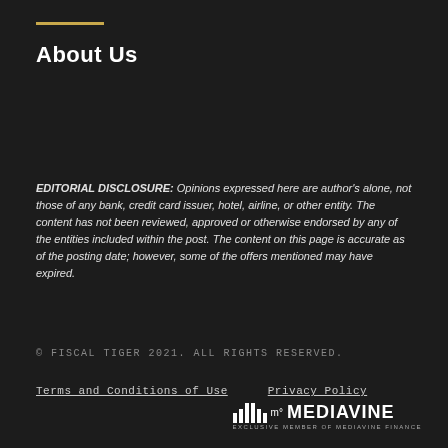About Us
EDITORIAL DISCLOSURE: Opinions expressed here are author's alone, not those of any bank, credit card issuer, hotel, airline, or other entity. The content has not been reviewed, approved or otherwise endorsed by any of the entities included within the post. The content on this page is accurate as of the posting date; however, some of the offers mentioned may have expired.
© FISCAL TIGER 2021. ALL RIGHTS RESERVED.
Terms and Conditions of Use    Privacy Policy
[Figure (logo): Mediavine logo with bar chart icon and text 'MEDIAVINE - EXCLUSIVE MEMBER OF MEDIAVINE FINANCE']